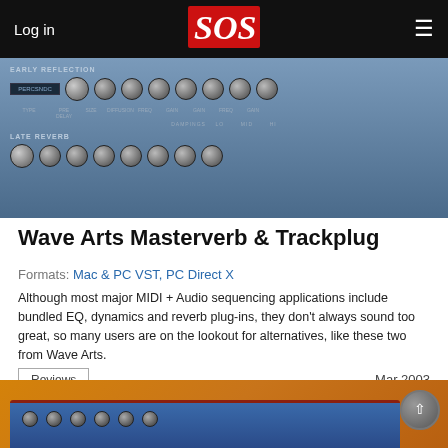Log in | SOS | Menu
[Figure (screenshot): Wave Arts Masterverb plugin UI screenshot showing knobs for Early Reflection and Late Reverb sections with controls for Type, Pre Delay, Size, Diffusion, Freq, Gain, and other parameters on a blue-grey background]
Wave Arts Masterverb & Trackplug
Formats: Mac & PC VST, PC Direct X
Although most major MIDI + Audio sequencing applications include bundled EQ, dynamics and reverb plug-ins, they don't always sound too great, so many users are on the lookout for alternatives, like these two from Wave Arts.
Reviews
Mar 2003
[Figure (photo): Photo of Wave Arts Trackplug hardware unit (blue rack unit) on an orange/amber background]